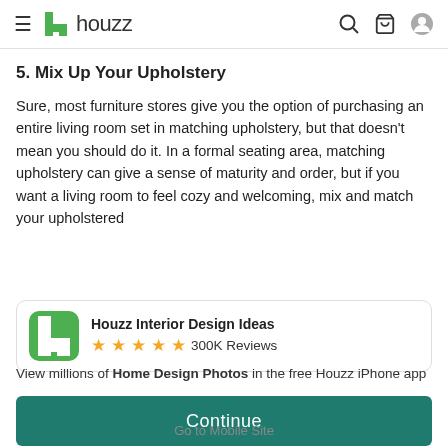houzz
5. Mix Up Your Upholstery
Sure, most furniture stores give you the option of purchasing an entire living room set in matching upholstery, but that doesn't mean you should do it. In a formal seating area, matching upholstery can give a sense of maturity and order, but if you want a living room to feel cozy and welcoming, mix and match your upholstered
[Figure (logo): Houzz Interior Design Ideas app banner with green H logo, 5 star rating and 300K Reviews]
View millions of Home Design Photos in the free Houzz iPhone app
Continue
Go to Mobile Site